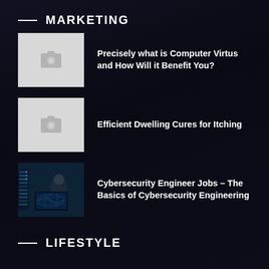MARKETING
[Figure (photo): Placeholder thumbnail image with camera/image icon, light gray background]
Precisely what is Computer Virtus and How Will it Benefit You?
[Figure (photo): Placeholder thumbnail image with camera/image icon, light gray background]
Efficient Dwelling Cures for Itching
[Figure (photo): Photo of a person working at a computer with cybersecurity screens in a dark room]
Cybersecurity Engineer Jobs – The Basics of Cybersecurity Engineering
LIFESTYLE